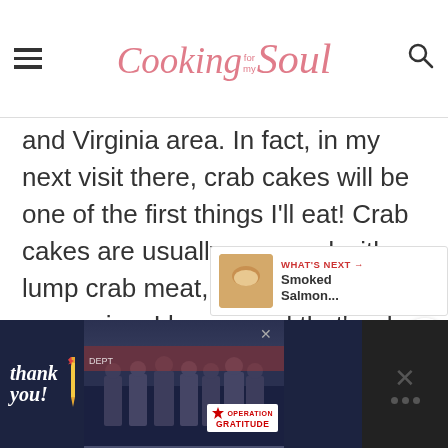Cooking for my Soul
and Virginia area. In fact, in my next visit there, crab cakes will be one of the first things I'll eat! Crab cakes are usually prepared with lump crab meat, which can be very expensive. I know...and that's why I serve them as appetizers. However, if you'd like, you can also serve them on a toasted bun as an open-faced sandwich, a popular choice in the Maryland area.
[Figure (other): What's Next panel showing Smoked Salmon thumbnail]
[Figure (other): Advertisement banner for Operation Gratitude featuring firefighters with Thank you text]